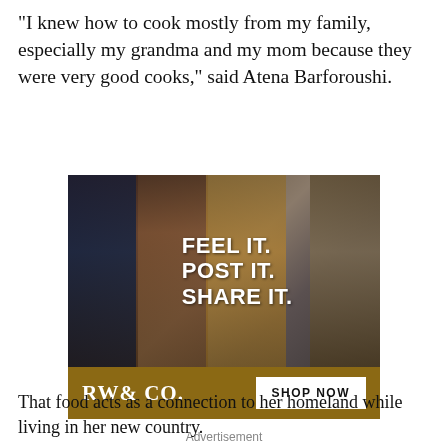“I knew how to cook mostly from my family, especially my grandma and my mom because they were very good cooks,” said Atena Barforoushi.
[Figure (photo): Advertisement photo showing four people walking on a city street. Text overlay reads: FEEL IT. POST IT. SHARE IT. Below the photo is a brown bar with RW&CO. logo and a SHOP NOW button.]
Advertisement
That food acts as a connection to her homeland while living in her new country.